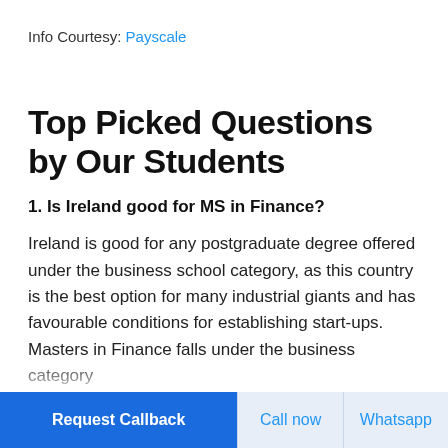Info Courtesy: Payscale
Top Picked Questions by Our Students
1. Is Ireland good for MS in Finance?
Ireland is good for any postgraduate degree offered under the business school category, as this country is the best option for many industrial giants and has favourable conditions for establishing start-ups. Masters in Finance falls under the business category
Request Callback | Call now | Whatsapp